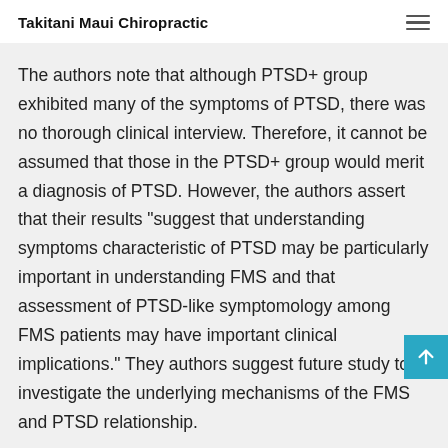Takitani Maui Chiropractic
The authors note that although PTSD+ group exhibited many of the symptoms of PTSD, there was no thorough clinical interview. Therefore, it cannot be assumed that those in the PTSD+ group would merit a diagnosis of PTSD. However, the authors assert that their results "suggest that understanding symptoms characteristic of PTSD may be particularly important in understanding FMS and that assessment of PTSD-like symptomology among FMS patients may have important clinical implications." They authors suggest future study to investigate the underlying mechanisms of the FMS and PTSD relationship.